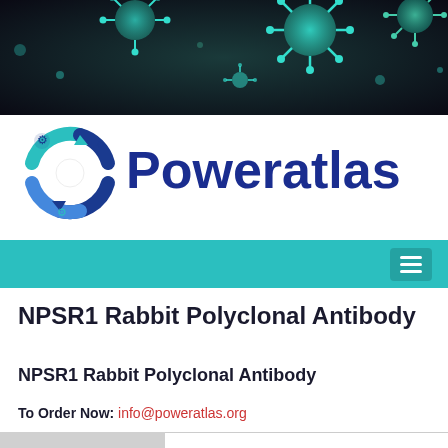[Figure (illustration): Dark background banner image with teal/green coronavirus particles floating against a dark background]
[Figure (logo): Poweratlas logo with circular gear/arrow icon in teal and blue, with the word Poweratlas in dark blue]
NPSR1 Rabbit Polyclonal Antibody
NPSR1 Rabbit Polyclonal Antibody
To Order Now: info@poweratlas.org